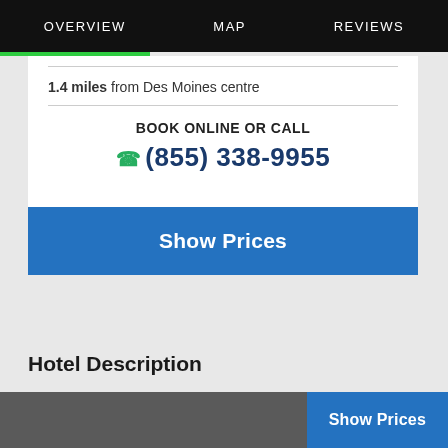OVERVIEW    MAP    REVIEWS
1.4 miles from Des Moines centre
BOOK ONLINE OR CALL
(855) 338-9955
Show Prices
Hotel Description
Connected via skywalk to the Iowa Events Center and Wells Fargo Arena this hotel offers concierge and valet parking services an airport shuttle and free Wi-Fi in public
Show Prices